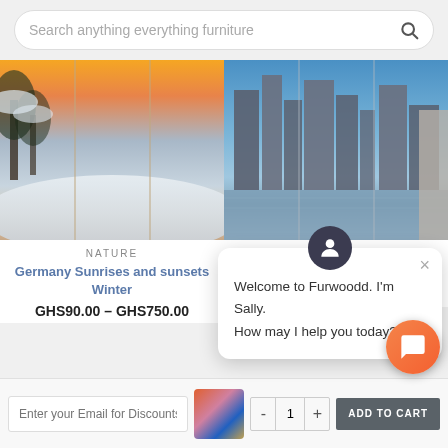[Figure (screenshot): Search bar at top with placeholder text 'Search anything everything furniture' and search icon]
[Figure (photo): Winter nature scene with snow-covered trees and sunset sky, shown as a multi-panel wall art]
NATURE
Germany Sunrises and sunsets Winter
GHS90.00 – GHS750.00
[Figure (photo): Rotterdam Netherlands cityscape with skyscrapers, bridges, and rivers, shown as multi-panel wall art]
NATURE
Rotterdam Netherlands Skyscrapers Bridges Rivers
[Figure (screenshot): Chat popup from Sally saying 'Welcome to Furwoodd. I'm Sally. How may I help you today?' with avatar and close button]
[Figure (screenshot): Bottom bar with email input 'Enter your Email for Discounts...', thumbnail image, quantity control (minus, 1, plus), and ADD TO CART button, plus orange chat FAB button]